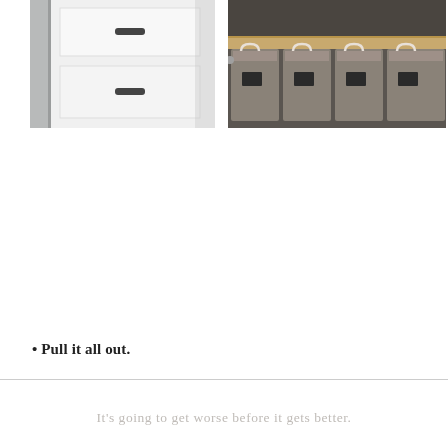[Figure (photo): Photo of white cabinet drawers with a dark handle, partially showing a stainless steel appliance on the left edge.]
[Figure (photo): Photo of an open closet shelf with gray fabric storage bins with white handles and small chalkboard labels, arranged in a row on a wooden shelf.]
• Pull it all out.
It's going to get worse before it gets better.